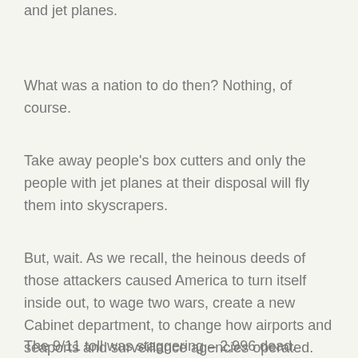and jet planes.
What was a nation to do then? Nothing, of course.
Take away people's box cutters and only the people with jet planes at their disposal will fly them into skyscrapers.
But, wait. As we recall, the heinous deeds of those attackers caused America to turn itself inside out, to wage two wars, create a new Cabinet department, to change how airports and seaports and surveillance agencies operated.
The 9/11 toll was staggering – 2,996 dead.